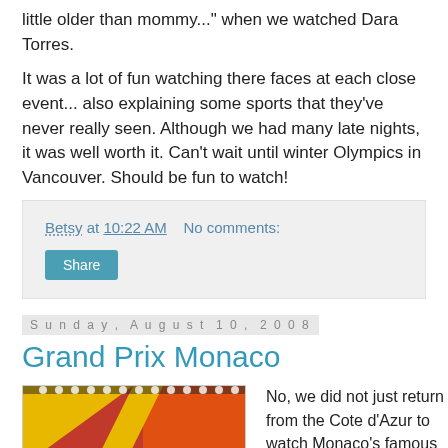little older than mommy..." when we watched Dara Torres.
It was a lot of fun watching there faces at each close event... also explaining some sports that they've never really seen. Although we had many late nights, it was well worth it. Can't wait until winter Olympics in Vancouver. Should be fun to watch!
Betsy at 10:22 AM    No comments:
Share
Sunday, August 10, 2008
Grand Prix Monaco
[Figure (photo): Colorful racing game board or toy with red, yellow and orange sections, a small race car, and geometric patterns]
No, we did not just return from the Cote d'Azur to watch Monaco's famous Grand Prix race... I wish. We did, though